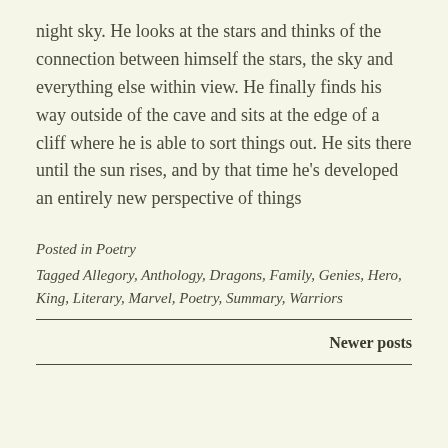night sky. He looks at the stars and thinks of the connection between himself the stars, the sky and everything else within view. He finally finds his way outside of the cave and sits at the edge of a cliff where he is able to sort things out. He sits there until the sun rises, and by that time he's developed an entirely new perspective of things
Posted in Poetry
Tagged Allegory, Anthology, Dragons, Family, Genies, Hero, King, Literary, Marvel, Poetry, Summary, Warriors
Newer posts